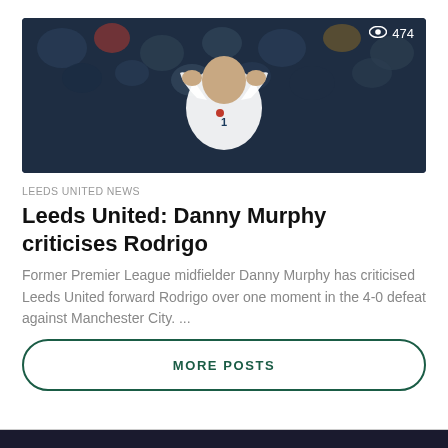[Figure (photo): Football player in white jersey celebrating, hands raised to face in binocular gesture, crowd blurred in background. View count badge showing eye icon and 474 in top right corner.]
LEEDS UNITED NEWS
Leeds United: Danny Murphy criticises Rodrigo
Former Premier League midfielder Danny Murphy has criticised Leeds United forward Rodrigo over one moment in the 4-0 defeat against Manchester City. ...
MORE POSTS